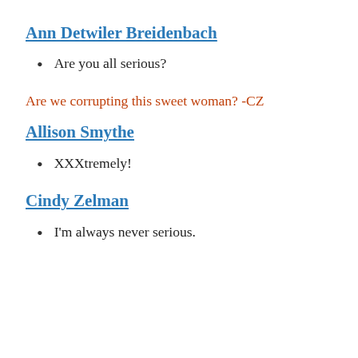Ann Detwiler Breidenbach
Are you all serious?
Are we corrupting this sweet woman? -CZ
Allison Smythe
XXXtremely!
Cindy Zelman
I'm always never serious.